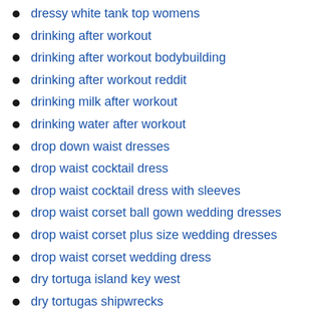dressy white tank top womens
drinking after workout
drinking after workout bodybuilding
drinking after workout reddit
drinking milk after workout
drinking water after workout
drop down waist dresses
drop waist cocktail dress
drop waist cocktail dress with sleeves
drop waist corset ball gown wedding dresses
drop waist corset plus size wedding dresses
drop waist corset wedding dress
dry tortuga island key west
dry tortugas shipwrecks
dungarees denim dress for girls